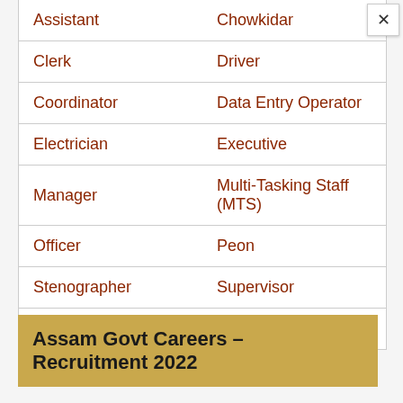| Assistant | Chowkidar |
| Clerk | Driver |
| Coordinator | Data Entry Operator |
| Electrician | Executive |
| Manager | Multi-Tasking Staff (MTS) |
| Officer | Peon |
| Stenographer | Supervisor |
| Teacher | Typist |
×
Assam Govt Careers – Recruitment 2022